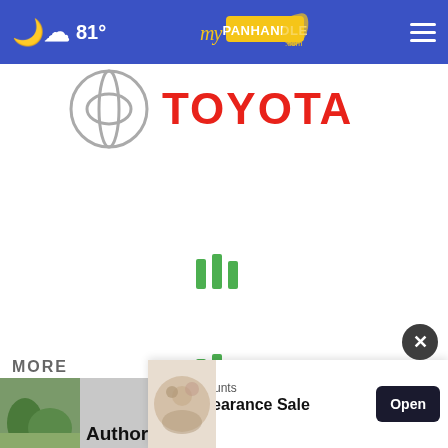81° myPanhandle.com
[Figure (logo): Toyota logo with circular emblem and red Toyota text]
[Figure (infographic): Green loading bars spinner indicator]
[Figure (infographic): Green loading bars spinner indicator]
MORE
[Figure (photo): Small thumbnail photo of trees/forest scene]
Authorities say drowning victim was
[Figure (infographic): Ring Discounts advertisement - Ring Clearance Sale with Open button]